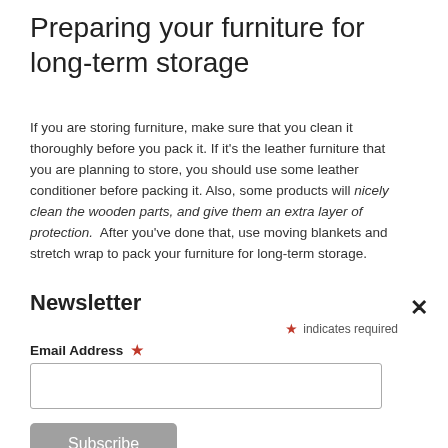Preparing your furniture for long-term storage
If you are storing furniture, make sure that you clean it thoroughly before you pack it. If it's the leather furniture that you are planning to store, you should use some leather conditioner before packing it. Also, some products will nicely clean the wooden parts, and give them an extra layer of protection.  After you've done that, use moving blankets and stretch wrap to pack your furniture for long-term storage.
Newsletter
* indicates required
Email Address *
Subscribe